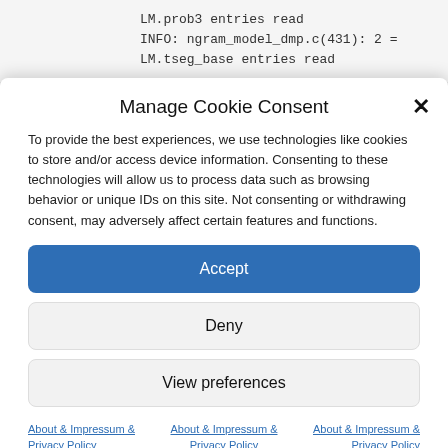LM.prob3 entries read
INFO: ngram_model_dmp.c(431): 2 =
LM.tseg_base entries read
Manage Cookie Consent
To provide the best experiences, we use technologies like cookies to store and/or access device information. Consenting to these technologies will allow us to process data such as browsing behavior or unique IDs on this site. Not consenting or withdrawing consent, may adversely affect certain features and functions.
Accept
Deny
View preferences
About & Impressum & Privacy Policy
About & Impressum & Privacy Policy
About & Impressum & Privacy Policy